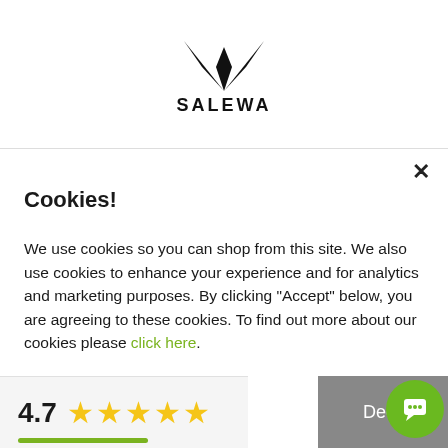[Figure (logo): SALEWA brand logo — black stylized W/bird shape above the text SALEWA in bold capitals]
Cookies!
We use cookies so you can shop from this site. We also use cookies to enhance your experience and for analytics and marketing purposes. By clicking "Accept" below, you are agreeing to these cookies. To find out more about our cookies please click here.
4.7 ★★★★★
Decli